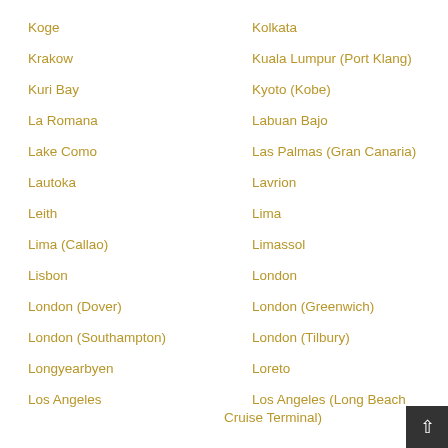Koge
Kolkata
Krakow
Kuala Lumpur (Port Klang)
Kuri Bay
Kyoto (Kobe)
La Romana
Labuan Bajo
Lake Como
Las Palmas (Gran Canaria)
Lautoka
Lavrion
Leith
Lima
Lima (Callao)
Limassol
Lisbon
London
London (Dover)
London (Greenwich)
London (Southampton)
London (Tilbury)
Longyearbyen
Loreto
Los Angeles
Los Angeles (Long Beach Cruise Terminal)